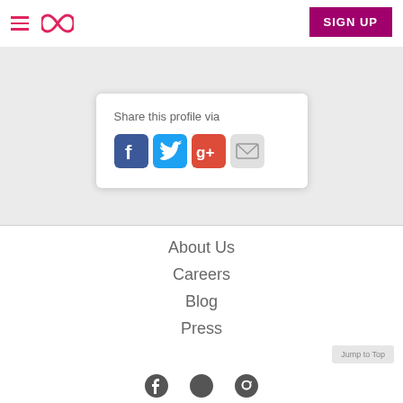SIGN UP
[Figure (screenshot): Share this profile via section with Facebook, Twitter, Google+, and email icons inside a white card on a gray background]
Share this profile via
About Us
Careers
Blog
Press
Jump to Top
[Figure (illustration): Facebook, Twitter, and Instagram social media icons at the bottom of the page]